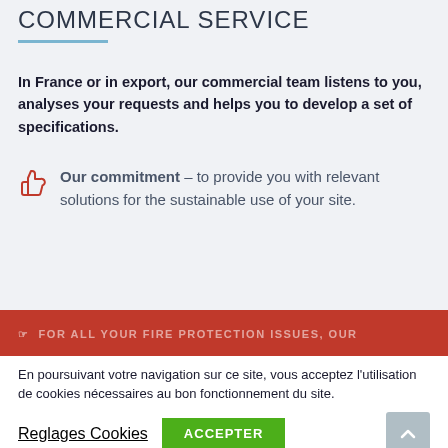COMMERCIAL SERVICE
In France or in export, our commercial team listens to you, analyses your requests and helps you to develop a set of specifications.
Our commitment – to provide you with relevant solutions for the sustainable use of your site.
FOR ALL YOUR FIRE PROTECTION ISSUES, OUR
En poursuivant votre navigation sur ce site, vous acceptez l'utilisation de cookies nécessaires au bon fonctionnement du site.
Reglages Cookies
ACCEPTER